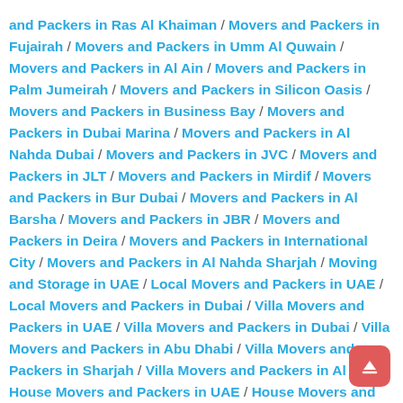and Packers in Ras Al Khaiman / Movers and Packers in Fujairah / Movers and Packers in Umm Al Quwain / Movers and Packers in Al Ain / Movers and Packers in Palm Jumeirah / Movers and Packers in Silicon Oasis / Movers and Packers in Business Bay / Movers and Packers in Dubai Marina / Movers and Packers in Al Nahda Dubai / Movers and Packers in JVC / Movers and Packers in JLT / Movers and Packers in Mirdif / Movers and Packers in Bur Dubai / Movers and Packers in Al Barsha / Movers and Packers in JBR / Movers and Packers in Deira / Movers and Packers in International City / Movers and Packers in Al Nahda Sharjah / Moving and Storage in UAE / Local Movers and Packers in UAE / Local Movers and Packers in Dubai / Villa Movers and Packers in UAE / Villa Movers and Packers in Dubai / Villa Movers and Packers in Abu Dhabi / Villa Movers and Packers in Sharjah / Villa Movers and Packers in Al Ain / House Movers and Packers in UAE / House Movers and Packers in Dubai / House Movers and Packers in Abu Dhabi / House Movers and Packers in Sharjah / House Movers and Packers in Fujairah / House Movers and Packers in Al Ain / Movers and Packers...